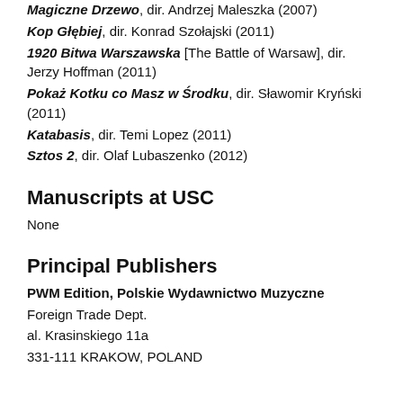Magiczne Drzewo, dir. Andrzej Maleszka (2007)
Kop Głębiej, dir. Konrad Szołajski (2011)
1920 Bitwa Warszawska [The Battle of Warsaw], dir. Jerzy Hoffman (2011)
Pokaż Kotku co Masz w Środku, dir. Sławomir Kryński (2011)
Katabasis, dir. Temi Lopez (2011)
Sztos 2, dir. Olaf Lubaszenko (2012)
Manuscripts at USC
None
Principal Publishers
PWM Edition, Polskie Wydawnictwo Muzyczne
Foreign Trade Dept.
al. Krasinskiego 11a
331-111 KRAKOW, POLAND